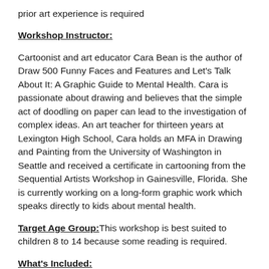prior art experience is required
Workshop Instructor:
Cartoonist and art educator Cara Bean is the author of Draw 500 Funny Faces and Features and Let's Talk About It: A Graphic Guide to Mental Health. Cara is passionate about drawing and believes that the simple act of doodling on paper can lead to the investigation of complex ideas. An art teacher for thirteen years at Lexington High School, Cara holds an MFA in Drawing and Painting from the University of Washington in Seattle and received a certificate in cartooning from the Sequential Artists Workshop in Gainesville, Florida. She is currently working on a long-form graphic work which speaks directly to kids about mental health.
Target Age Group: This workshop is best suited to children 8 to 14 because some reading is required.
What's Included: